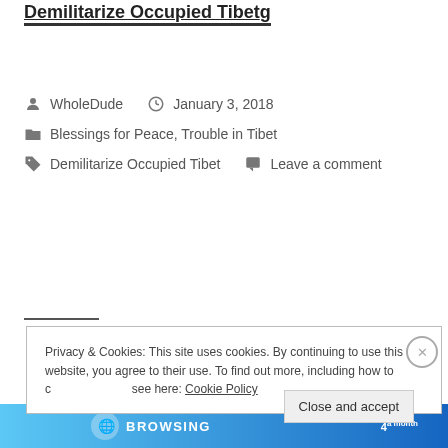Demilitarize Occupied Tibet
WholeDude   January 3, 2018
Blessings for Peace, Trouble in Tibet
Demilitarize Occupied Tibet   Leave a comment
Privacy & Cookies: This site uses cookies. By continuing to use this website, you agree to their use. To find out more, including how to control cookies, see here: Cookie Policy
Close and accept
[Figure (screenshot): Advertisement banner at the bottom showing BROWSING text with blue gradient background and monthly pricing]